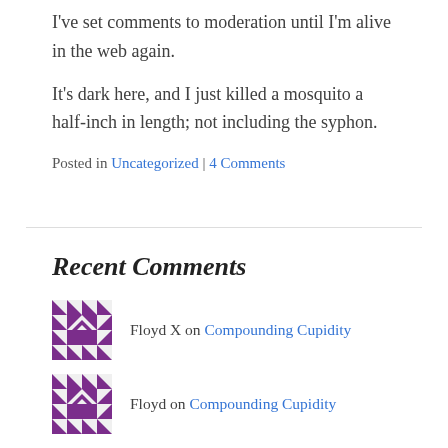I've set comments to moderation until I'm alive in the web again.
It's dark here, and I just killed a mosquito a half-inch in length; not including the syphon.
Posted in Uncategorized | 4 Comments
Recent Comments
Floyd X on Compounding Cupidity
Floyd on Compounding Cupidity
A Short History of m… on But Mostly Cars